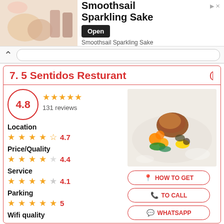[Figure (photo): Advertisement banner for Smoothsail Sparkling Sake with drink imagery]
Smoothsail Sparkling Sake
Open
Smoothsail Sparkling Sake
7. 5 Sentidos Resturant
4.8
131 reviews
[Figure (photo): Food photo showing a meat dish with colorful vegetables on a white plate]
Location
4.7
Price/Quality
4.4
Service
4.1
HOW TO GET
Parking
5
TO CALL
Wifi quality
WHATSAPP